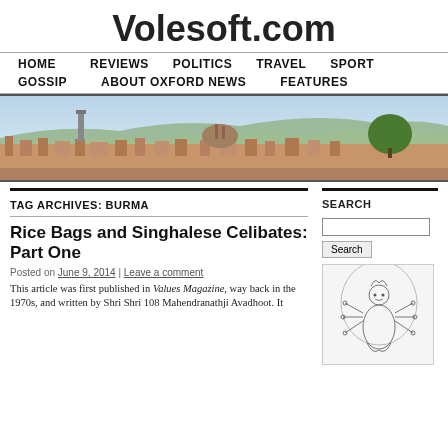Volesoft.com
HOME  REVIEWS  POLITICS  TRAVEL  SPORT  GOSSIP  ABOUT OXFORD NEWS  FEATURES
[Figure (photo): Panoramic view of Florence, Italy, showing cathedral dome and cityscape with hills in background]
TAG ARCHIVES: BURMA
SEARCH
Rice Bags and Singhalese Celibates: Part One
Posted on June 9, 2014 | Leave a comment
This article was first published in Values Magazine, way back in the 1970s, and written by Shri Shri 108 Mahendranathji Avadhoot. It
[Figure (illustration): Line drawing illustration of a Hindu deity figure with multiple arms]